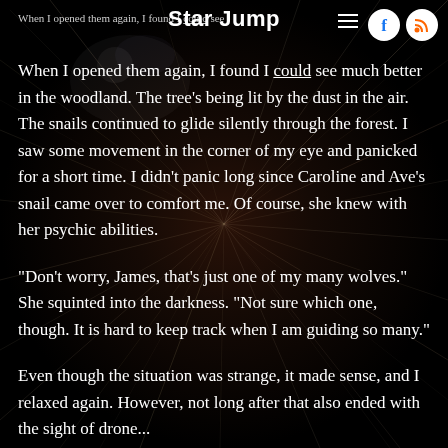Star Jump
When I opened them again, I found I could see much better in the woodland. The tree's being lit by the dust in the air. The snails continued to glide silently through the forest. I saw some movement in the corner of my eye and panicked for a short time. I didn't panic long since Caroline and Ave's snail came over to comfort me. Of course, she knew with her psychic abilities.
"Don't worry, James, that's just one of my many wolves." She squinted into the darkness. "Not sure which one, though. It is hard to keep track when I am guiding so many."
Even though the situation was strange, it made sense, and I relaxed again. However, not long after that also ended with the sight of drone...